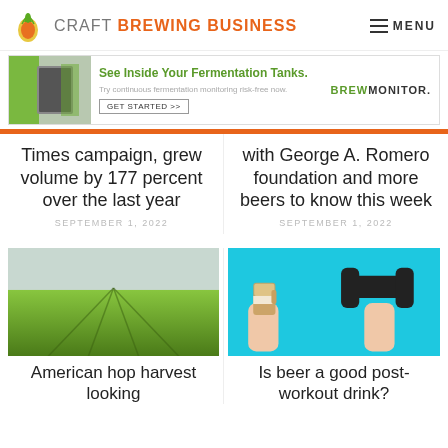CRAFT BREWING BUSINESS  MENU
[Figure (screenshot): Advertisement banner for BrewMonitor: 'See Inside Your Fermentation Tanks. Try continuous fermentation monitoring risk-free now. GET STARTED >> BREWMONITOR.']
Times campaign, grew volume by 177 percent over the last year
SEPTEMBER 1, 2022
with George A. Romero foundation and more beers to know this week
SEPTEMBER 1, 2022
[Figure (photo): Green hop field rows stretching into distance under cloudy sky]
American hop harvest looking
[Figure (photo): Two hands fist-bumping, one holding a beer mug, one holding a dumbbell, on a teal background]
Is beer a good post-workout drink?